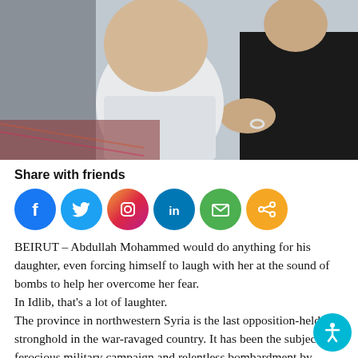[Figure (photo): A baby/toddler in a white outfit being held or attended to by an adult wearing a dark top and a silver ring, photographed indoors with a colorful rug visible in the background.]
Share with friends
[Figure (infographic): Row of six social media sharing icon buttons: Facebook (blue), Twitter (light blue), Instagram (gradient pink/orange), LinkedIn (blue), Email (green), Share (orange)]
BEIRUT – Abdullah Mohammed would do anything for his daughter, even forcing himself to laugh with her at the sound of bombs to help her overcome her fear.
In Idlib, that's a lot of laughter.
The province in northwestern Syria is the last opposition-held stronghold in the war-ravaged country. It has been the subject of a ferocious military campaign and relentless bombardment by Russia-backed Syrian government t… since early December. More than 900,000 civilians hav…